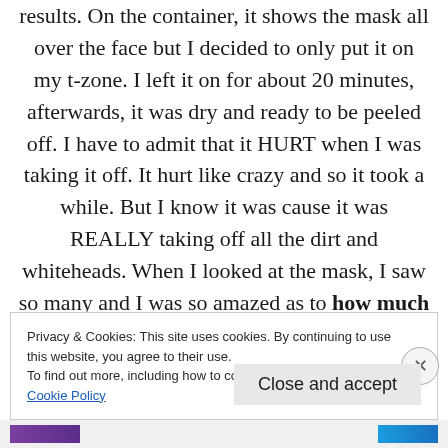results. On the container, it shows the mask all over the face but I decided to only put it on my t-zone. I left it on for about 20 minutes, afterwards, it was dry and ready to be peeled off. I have to admit that it HURT when I was taking it off. It hurt like crazy and so it took a while. But I know it was cause it was REALLY taking off all the dirt and whiteheads. When I looked at the mask, I saw so many and I was so amazed as to how much it took out.
Privacy & Cookies: This site uses cookies. By continuing to use this website, you agree to their use.
To find out more, including how to control cookies, see here:
Cookie Policy
Close and accept